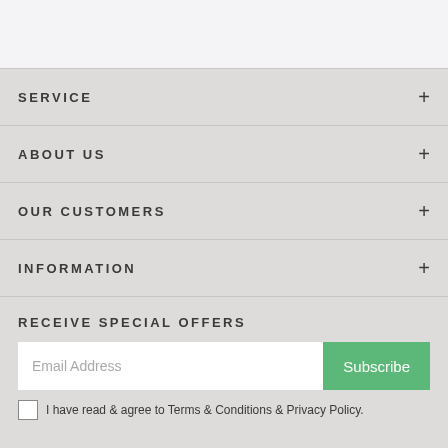SERVICE
ABOUT US
OUR CUSTOMERS
INFORMATION
RECEIVE SPECIAL OFFERS
Email Address
Subscribe
I have read & agree to Terms & Conditions & Privacy Policy.
[Figure (illustration): Social media icons: Facebook (f), Instagram (camera), LinkedIn (in)]